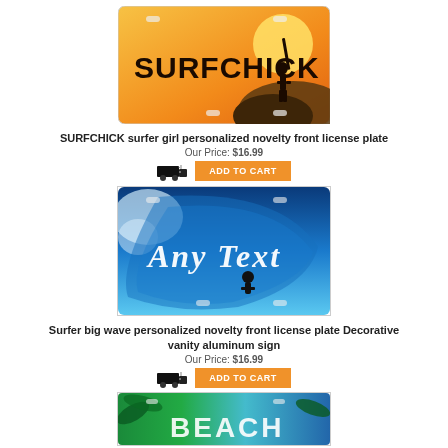[Figure (photo): SURFCHICK license plate with orange/yellow sunset background and silhouette of surfer girl]
SURFCHICK surfer girl personalized novelty front license plate
Our Price: $16.99
[Figure (infographic): Truck shipping icon and ADD TO CART orange button]
[Figure (photo): Surfer big wave license plate with blue ocean wave background and Any Text in cursive]
Surfer big wave personalized novelty front license plate Decorative vanity aluminum sign
Our Price: $16.99
[Figure (infographic): Truck shipping icon and ADD TO CART orange button]
[Figure (photo): Beach license plate partially visible with palm trees and BEACH text]